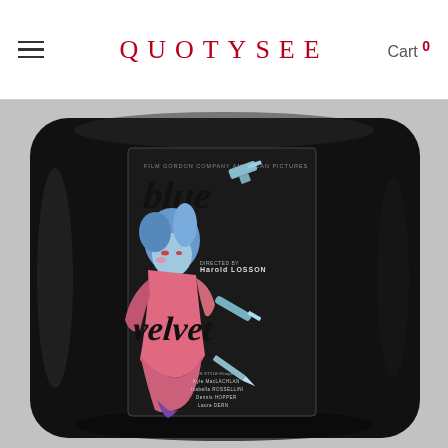QUOTYSEE  Cart 0
[Figure (photo): A decorative throw pillow with a black background displaying a Blue Velvet movie poster graphic, featuring an illustrated figure with blue hair and pink dress, with stylized text reading 'blue velvet' and gun/knife imagery.]